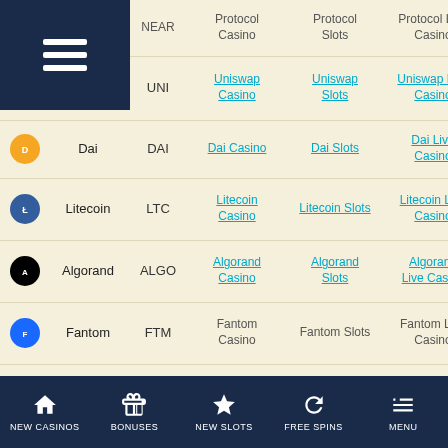| Icon | Name | Ticker | Casino | Slots | Live Casino | Blackjack |
| --- | --- | --- | --- | --- | --- | --- |
|  | Protocol | NEAR | Protocol Casino | Protocol Slots | Protocol Live Casino | Protocol Blackjack |
| UNI | Uniswap | UNI | Uniswap Casino | Uniswap Slots | Uniswap Live Casino | Uniswap Blackjack |
| DAI | Dai | DAI | Dai Casino | Dai Slots | Dai Live Casino | Dai Blackjack |
| LTC | Litecoin | LTC | Litecoin Casino | Litecoin Slots | Litecoin Live Casino | Litecoin Blackjack |
| ALGO | Algorand | ALGO | Algorand Casino | Algorand Slots | Algorand Live Casino | Algorand Blackjack |
| FTM | Fantom | FTM | Fantom Casino | Fantom Slots | Fantom Live Casino | Fantom Blackjack |
| TRX | Tron | TRX | Tron Casino | Tron Slots | Tron Live Casino | Tron Blackjack |
NEW CASINOS | BONUSES | NEW SLOTS | FREE SPINS | MENU